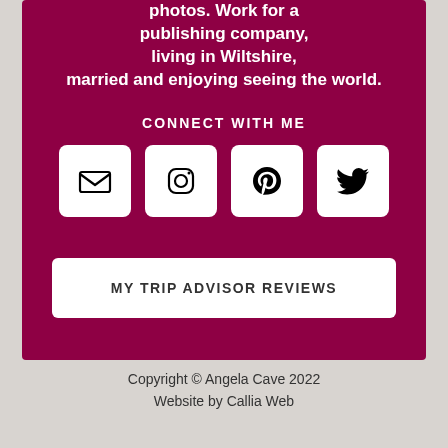photos. Work for a publishing company, living in Wiltshire, married and enjoying seeing the world.
CONNECT WITH ME
[Figure (infographic): Four social media icon buttons: email envelope, Instagram, Pinterest, Twitter]
MY TRIP ADVISOR REVIEWS
Copyright © Angela Cave 2022
Website by Callia Web